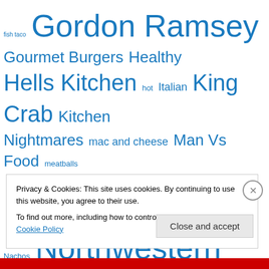[Figure (infographic): Tag cloud with food and restaurant-related terms in varying sizes and blue color. Terms include: fish taco, Gordon Ramsey, Gourmet Burgers, Healthy, Hells Kitchen, hot, Italian, King Crab, Kitchen Nightmares, mac and cheese, Man Vs Food, meatballs, Mexican, mexican food, microbrews, Nachos, Northwestern, omelette, Opelio, Pizza, PMS, Pulled Pork, Ribs, rice, salmon, salsa, sandwich, sandwiches, Scallops, Seafood, Shrimp, Sit-down, Spicy, steak, Sushi, Tacos, Take-]
Privacy & Cookies: This site uses cookies. By continuing to use this website, you agree to their use. To find out more, including how to control cookies, see here: Cookie Policy
Close and accept